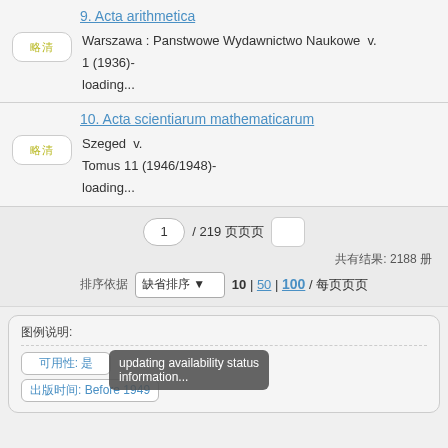9. Acta arithmetica
Warszawa : Panstwowe Wydawnictwo Naukowe  v. 1 (1936)-
loading...
10. Acta scientiarum mathematicarum
Szeged  v.
Tomus 11 (1946/1948)-
loading...
1 / 219 页
共有结果: 2188 册
排序依据 缺省排序 ▼  10 | 50 | 100 / 每页
图例说明:
可用性: 是
出版时间: Before 1949
updating availability status information...